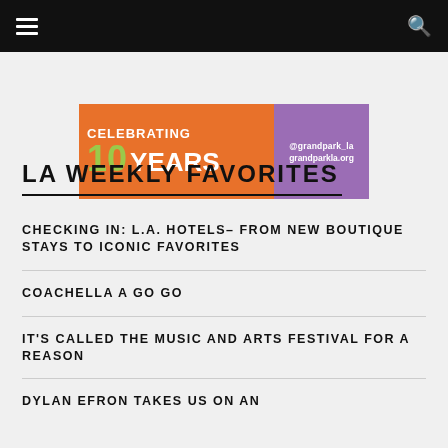Navigation bar with menu and search icons
[Figure (other): Grand Park LA advertisement banner: orange background with 'CELEBRATING 10 YEARS' text in white and green, purple box on right with '@grandpark_la grandparkla.org']
LA WEEKLY FAVORITES
CHECKING IN: L.A. HOTELS– FROM NEW BOUTIQUE STAYS TO ICONIC FAVORITES
COACHELLA A GO GO
IT'S CALLED THE MUSIC AND ARTS FESTIVAL FOR A REASON
DYLAN EFRON TAKES US ON AN